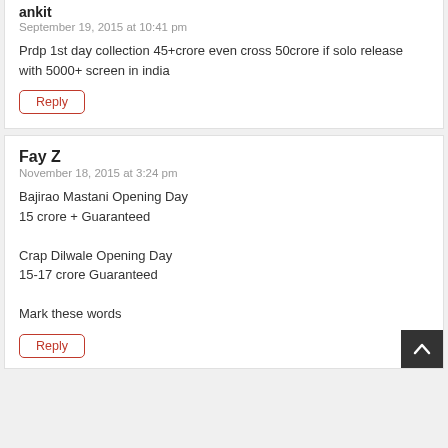ankit
September 19, 2015 at 10:41 pm
Prdp 1st day collection 45+crore even cross 50crore if solo release with 5000+ screen in india
Reply
Fay Z
November 18, 2015 at 3:24 pm
Bajirao Mastani Opening Day
15 crore + Guaranteed

Crap Dilwale Opening Day
15-17 crore Guaranteed

Mark these words
Reply